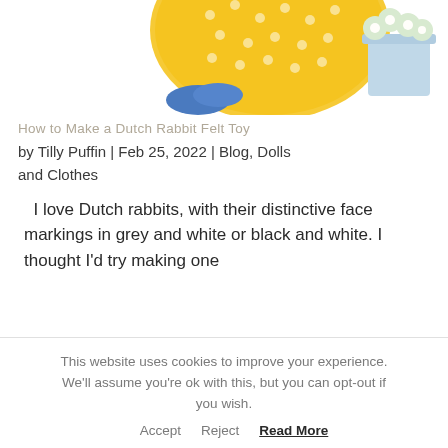[Figure (photo): Partial view of a Dutch rabbit felt toy scene with a yellow polka-dot bag, blue shoes, and a light blue flower pot with white flowers on a white background.]
How to Make a Dutch Rabbit Felt Toy
by Tilly Puffin | Feb 25, 2022 | Blog, Dolls and Clothes
I love Dutch rabbits, with their distinctive face markings in grey and white or black and white. I thought I'd try making one
This website uses cookies to improve your experience. We'll assume you're ok with this, but you can opt-out if you wish. Accept Reject Read More